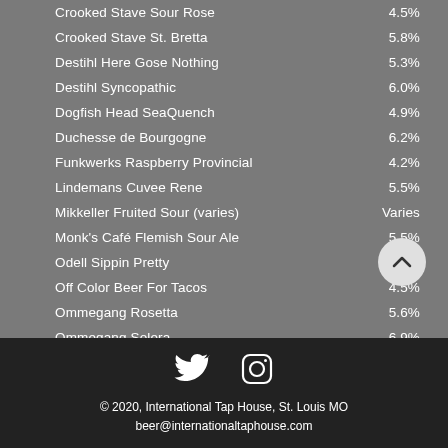Crooked Stave Sour Rose — 4.5%
Crooked Stave St. Bretta — 5.8%
Destihl Here Gose Nothing — 5.3%
Destihl Syncopathic — 6.0%
Dogfish Head SeaQuench — 4.9%
Duchesse de Bourgogne — 6.2%
Funkwerks Raspberry Provincial — 4.2%
Lindemans Cuvee Rene — 5.5%
Mikkeller Fruited Sour (varies) — Varies
Monk's Café Flemish Sour Ale — 5.5%
Odell Sippin Pretty — 4.5%
Off Color Beer For Tacos — 4.5%
Ommegang Rosetta — 5.6%
Ommegang Solera — 6.9%
Orval Trappist Ale — 6.9%
Petrus Aged Pale — 7.3%
Petrus Aged Red
Prairie Vape Tricks
Stillwater Insetto — 5.0%
Sudwerk Funhouse — 4.5%
© 2020, International Tap House, St. Louis MO
beer@internationaltaphouse.com